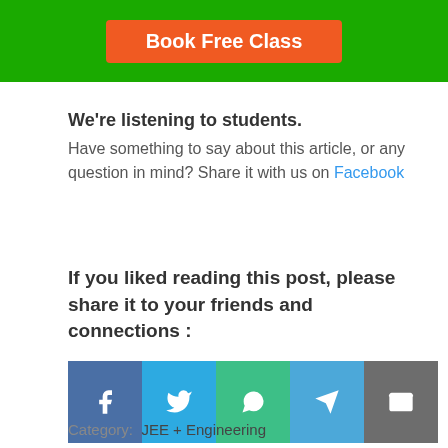[Figure (other): Green banner with orange 'Book Free Class' button]
We're listening to students.
Have something to say about this article, or any question in mind? Share it with us on Facebook
If you liked reading this post, please share it to your friends and connections :
[Figure (other): Social share buttons: Facebook, Twitter, WhatsApp, Telegram, Email]
Category:  JEE + Engineering